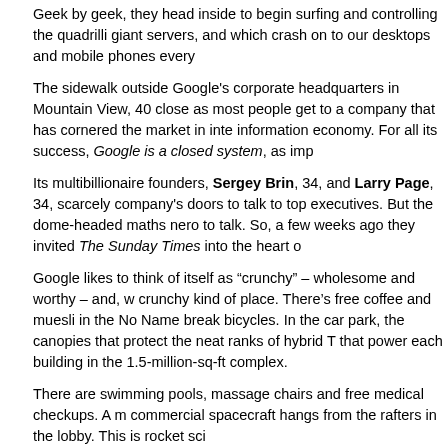Geek by geek, they head inside to begin surfing and controlling the quadrilli giant servers, and which crash on to our desktops and mobile phones every
The sidewalk outside Google's corporate headquarters in Mountain View, 40 close as most people get to a company that has cornered the market in inte information economy. For all its success, Google is a closed system, as imp
Its multibillionaire founders, Sergey Brin, 34, and Larry Page, 34, scarcely company's doors to talk to top executives. But the dome-headed maths nero to talk. So, a few weeks ago they invited The Sunday Times into the heart o
Google likes to think of itself as “crunchy” – wholesome and worthy – and, w crunchy kind of place. There’s free coffee and muesli in the No Name break bicycles. In the car park, the canopies that protect the neat ranks of hybrid T that power each building in the 1.5-million-sq-ft complex.
There are swimming pools, massage chairs and free medical checkups. A m commercial spacecraft hangs from the rafters in the lobby. This is rocket sci
Marissa Mayer is waiting in an anonymous-looking whitewashed conferenc engine. Like all Google key executives, she is annoyingly young – 32 – and millions of pounds, thanks to the generous stock options granted to the firm
She does her best to deflect the wealth issue by wearing flats, a studiously p combination that shrieks:
“I know you know I’m a zillionaire, but please treat me as just one of